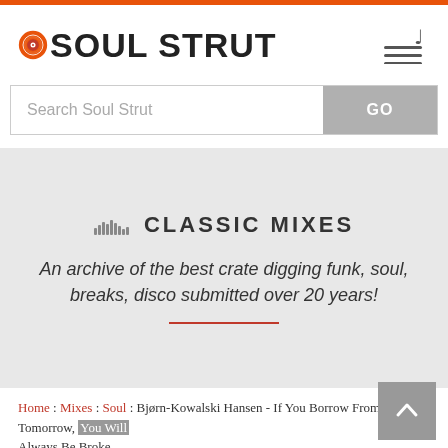SOUL STRUT
Search Soul Strut
CLASSIC MIXES
An archive of the best crate digging funk, soul, breaks, disco submitted over 20 years!
Home : Mixes : Soul : Bjørn-Kowalski Hansen - If You Borrow From Tomorrow, You Will Always Be Broke